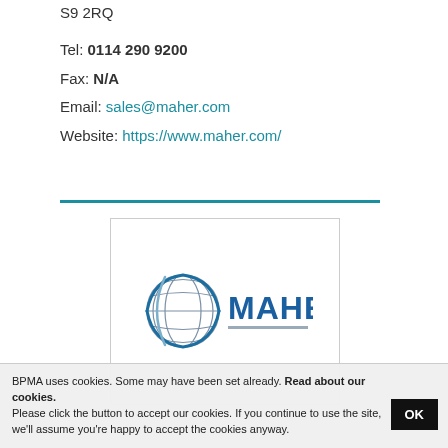S9 2RQ
Tel: 0114 290 9200
Fax: N/A
Email: sales@maher.com
Website: https://www.maher.com/
[Figure (logo): Maher company logo with a globe/sphere graphic and the word MAHER in blue capital letters]
BPMA uses cookies. Some may have been set already. Read about our cookies.
Please click the button to accept our cookies. If you continue to use the site, we'll assume you're happy to accept the cookies anyway.